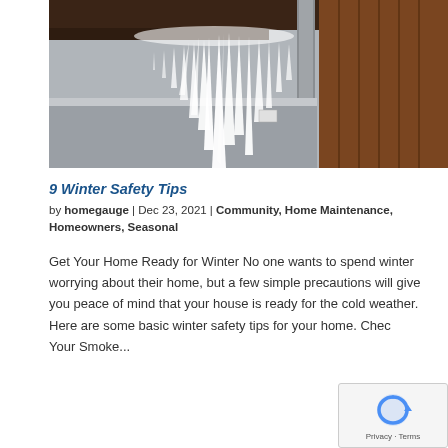[Figure (photo): Photograph of icicles hanging from a roof/gutter with a drainpipe visible and wooden structure in the background]
9 Winter Safety Tips
by homegauge | Dec 23, 2021 | Community, Home Maintenance, Homeowners, Seasonal
Get Your Home Ready for Winter No one wants to spend winter worrying about their home, but a few simple precautions will give you peace of mind that your house is ready for the cold weather. Here are some basic winter safety tips for your home. Check Your Smoke...